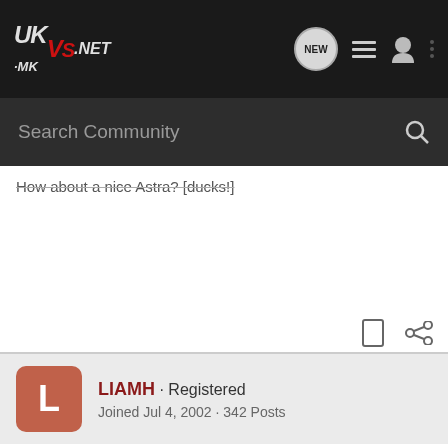UK-MKVS.NET [navigation bar with NEW, list, user, and menu icons]
Search Community
How about a nice Astra? [ducks!]
LIAMH · Registered
Joined Jul 4, 2002 · 342 Posts
#11 · Aug 10, 2004
The s3 isn't that great out of the box either - most owners seem to do alot of what Golf owners do - remap - h&r springs /bilstein